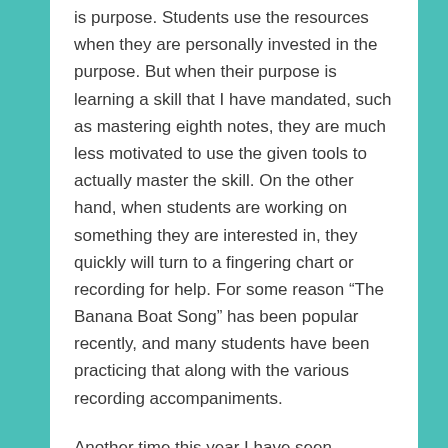is purpose. Students use the resources when they are personally invested in the purpose. But when their purpose is learning a skill that I have mandated, such as mastering eighth notes, they are much less motivated to use the given tools to actually master the skill. On the other hand, when students are working on something they are interested in, they quickly will turn to a fingering chart or recording for help. For some reason “The Banana Boat Song” has been popular recently, and many students have been practicing that along with the various recording accompaniments.
Another time this year I have seen increased student motivation to learn on their own was during two video projects using Flipgrid. In both cases, students were given supplemental music, one set